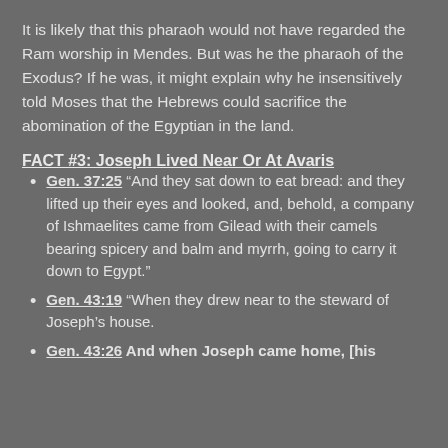It is likely that this pharaoh would not have regarded the Ram worship in Mendes. But was he the pharaoh of the Exodus? If he was, it might explain why he insensitively told Moses that the Hebrews could sacrifice the abomination of the Egyptian in the land.
FACT #3: Joseph Lived Near Or At Avaris
Gen. 37:25 “And they sat down to eat bread: and they lifted up their eyes and looked, and, behold, a company of Ishmaelites came from Gilead with their camels bearing spicery and balm and myrrh, going to carry it down to Egypt.”
Gen. 43:19 “When they drew near to the steward of Joseph’s house.
Gen. 43:26 And when Joseph came home, [his